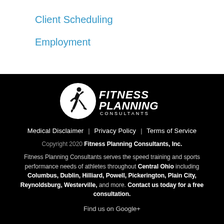Client Scheduling
Employment
[Figure (logo): Fitness Planning Consultants logo: white circle with running figure silhouette and bold stylized text 'FITNESS PLANNING CONSULTANTS' on black background]
Medical Disclaimer | Privacy Policy | Terms of Service
Copyright 2020 Fitness Planning Consultants, Inc.
Fitness Planning Consultants serves the speed training and sports performance needs of athletes throughout Central Ohio including Columbus, Dublin, Hilliard, Powell, Pickerington, Plain City, Reynoldsburg, Westerville, and more. Contact us today for a free consultation.
Find us on Google+